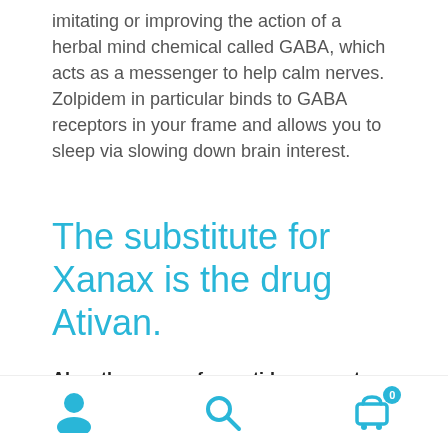imitating or improving the action of a herbal mind chemical called GABA, which acts as a messenger to help calm nerves. Zolpidem in particular binds to GABA receptors in your frame and allows you to sleep via slowing down brain interest.
The substitute for Xanax is the drug Ativan.
Also, there are a few antidepressants that can be used as substitutes.
The alternative for Xanax are leading products...
Navigation bar with user, search, and cart icons